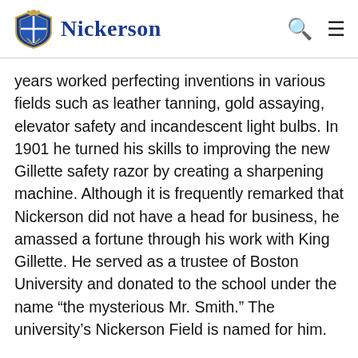Nickerson
years worked perfecting inventions in various fields such as leather tanning, gold assaying, elevator safety and incandescent light bulbs. In 1901 he turned his skills to improving the new Gillette safety razor by creating a sharpening machine. Although it is frequently remarked that Nickerson did not have a head for business, he amassed a fortune through his work with King Gillette. He served as a trustee of Boston University and donated to the school under the name “the mysterious Mr. Smith.” The university’s Nickerson Field is named for him.
When Nickerson’s clerk Miss MacKinnon “was taken sick” in April 1899, Nickerson brought in Kingsbury as “temporary help.” From the tone of a note Kingsbury